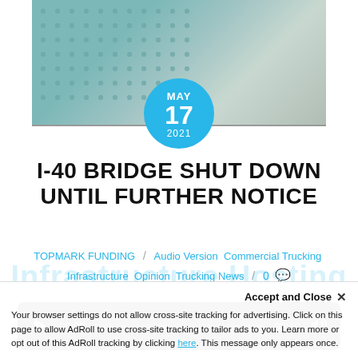[Figure (photo): Photo of bridge infrastructure with teal/gray concrete segments and a circular date badge overlay showing MAY 17 2021 in a blue circle]
I-40 BRIDGE SHUT DOWN UNTIL FURTHER NOTICE
TOPMARK FUNDING / Audio Version  Commercial Trucking  Infrastructure  Opinion  Trucking News / 0 💬
[Figure (other): Audio player widget with play button, timestamp 00:00, progress bar, end time 02:19, and volume icon]
Listen to this article
Accept and Close ×
Your browser settings do not allow cross-site tracking for advertising. Click on this page to allow AdRoll to use cross-site tracking to tailor ads to you. Learn more or opt out of this AdRoll tracking by clicking here. This message only appears once.